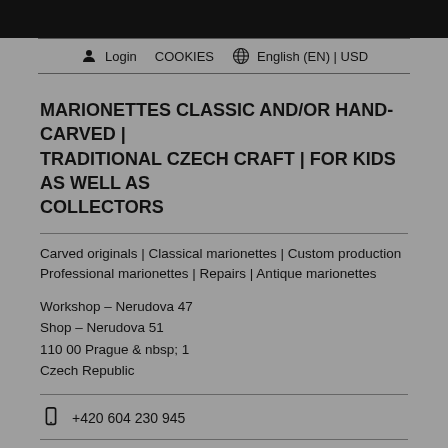Login | COOKIES | English (EN) | USD
MARIONETTES CLASSIC AND/OR HAND-CARVED | TRADITIONAL CZECH CRAFT | FOR KIDS AS WELL AS COLLECTORS
Carved originals | Classical marionettes | Custom production Professional marionettes | Repairs | Antique marionettes
Workshop – Nerudova 47
Shop – Nerudova 51
110 00 Prague & nbsp; 1
Czech Republic
+420 604 230 945
Mon to Fri 10:00–16:00, Sat and Sun 11:00–18:00